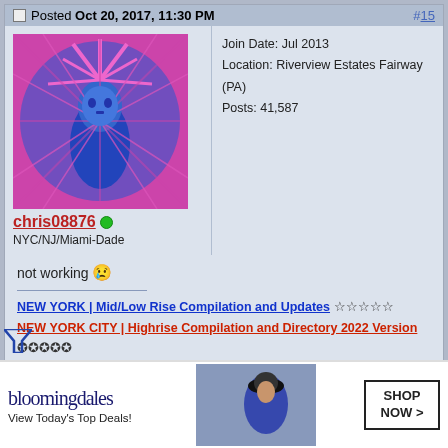Posted Oct 20, 2017, 11:30 PM #15
Join Date: Jul 2013
Location: Riverview Estates Fairway (PA)
Posts: 41,587
chris08876
NYC/NJ/Miami-Dade
not working 😢
NEW YORK | Mid/Low Rise Compilation and Updates ☆☆☆☆☆
NEW YORK CITY | Highrise Compilation and Directory 2022 Version ✪✪✪✪✪
YIMBY Forums 🏢
Last edited by chris08876; Aug 8, 2020 at 1:47 PM. Reason: Fixed
Posted Apr 26, 2019, 10:12 PM #16
Join Date: Jul 2013
Location: Riverview Estates Fairway
Posts: 41,587
chris08876